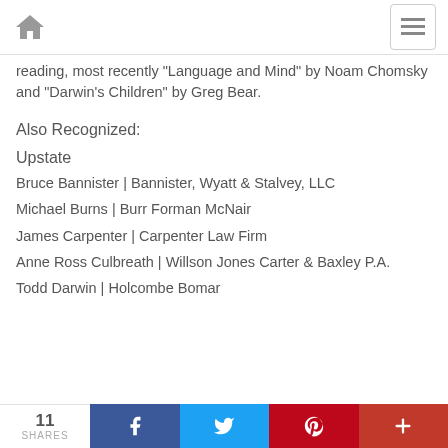Home navigation and menu
reading, most recently "Language and Mind" by Noam Chomsky and "Darwin's Children" by Greg Bear.
Also Recognized:
Upstate
Bruce Bannister | Bannister, Wyatt & Stalvey, LLC
Michael Burns | Burr Forman McNair
James Carpenter | Carpenter Law Firm
Anne Ross Culbreath | Willson Jones Carter & Baxley P.A.
Todd Darwin | Holcombe Bomar
11 SHARES